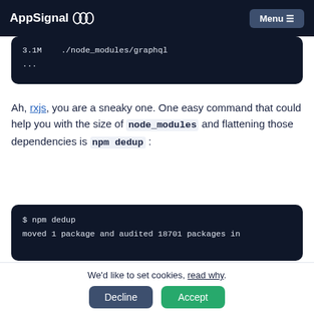AppSignal  Menu
[Figure (screenshot): Dark code block showing: 3.1M  ./node_modules/graphql  ...]
Ah, rxjs, you are a sneaky one. One easy command that could help you with the size of node_modules and flattening those dependencies is npm dedup:
[Figure (screenshot): Dark code block showing: $ npm dedup  moved 1 package and audited 18701 packages in]
We'd like to set cookies, read why.